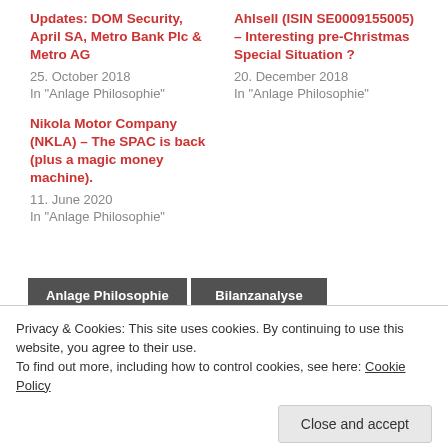Updates: DOM Security, April SA, Metro Bank Plc & Metro AG
25. October 2018
In "Anlage Philosophie"
Ahlsell (ISIN SE0009155005) – Interesting pre-Christmas Special Situation ?
20. December 2018
In "Anlage Philosophie"
Nikola Motor Company (NKLA) – The SPAC is back (plus a magic money machine).
11. June 2020
In "Anlage Philosophie"
Privacy & Cookies: This site uses cookies. By continuing to use this website, you agree to their use.
To find out more, including how to control cookies, see here: Cookie Policy